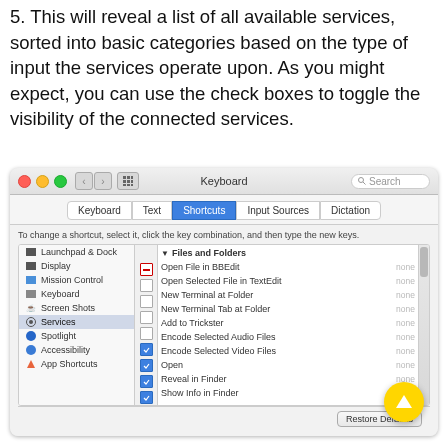5. This will reveal a list of all available services, sorted into basic categories based on the type of input the services operate upon. As you might expect, you can use the check boxes to toggle the visibility of the connected services.
[Figure (screenshot): macOS Keyboard System Preferences window showing Shortcuts tab with Services selected. Left sidebar shows categories: Launchpad & Dock, Display, Mission Control, Keyboard, Screen Shots, Services (selected), Spotlight, Accessibility, App Shortcuts. Right panel shows Files and Folders section with items: Open File in BBEdit, Open Selected File in TextEdit, New Terminal at Folder, New Terminal Tab at Folder, Add to Trickster (checked), Encode Selected Audio Files (checked), Encode Selected Video Files (checked), Open (checked), Reveal in Finder (checked), Show Info in Finder (checked). Bottom shows Restore Defaults button and Full Keyboard Access options.]